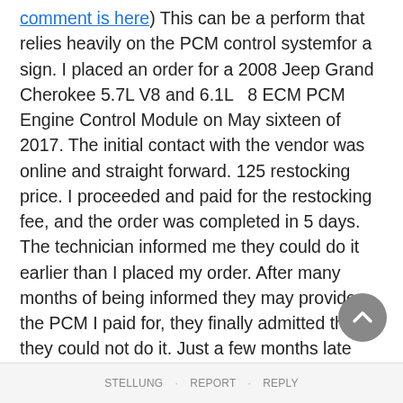comment is here) This can be a perform that relies heavily on the PCM control systemfor a sign. I placed an order for a 2008 Jeep Grand Cherokee 5.7L V8 and 6.1L 8 ECM PCM Engine Control Module on May sixteen of 2017. The initial contact with the vendor was online and straight forward. 125 restocking price. I proceeded and paid for the restocking fee, and the order was completed in 5 days. The technician informed me they could do it earlier than I placed my order. After many months of being informed they may provide the PCM I paid for, they finally admitted that they could not do it. Just a few months late the computer had a distinct problem , they warrantied it shortly with a query or excuse. In case you face a problem at night time, and if you need to look forward t next 24 hours to get the problem addressed, then it's up to no good.
STELLUNG · REPORT · REPLY